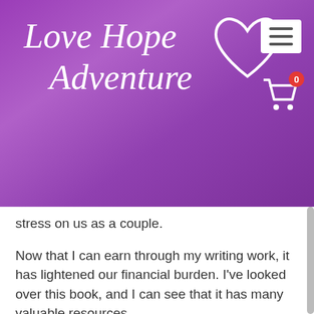Love Hope Adventure
stress on us as a couple.
Now that I can earn through my writing work, it has lightened our financial burden. I've looked over this book, and I can see that it has many valuable resources.
I hope that it will help me to grow my business more so I can serve you better. If you are looking to start your own blog, you would deeply benefit from this as well.
Share This Post
[Figure (illustration): Four circular social media share buttons (Facebook, Twitter, LinkedIn, Pinterest) in purple color at the bottom of the page]